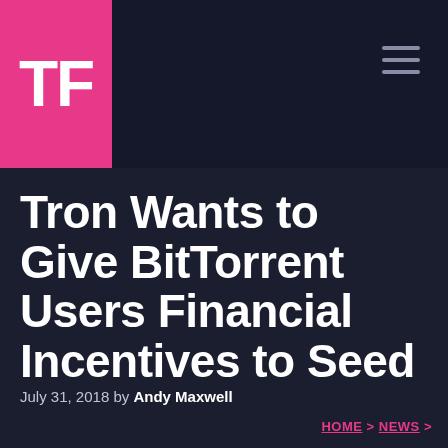TF
Tron Wants to Give BitTorrent Users Financial Incentives to Seed
July 31, 2018 by Andy Maxwell
HOME > NEWS >